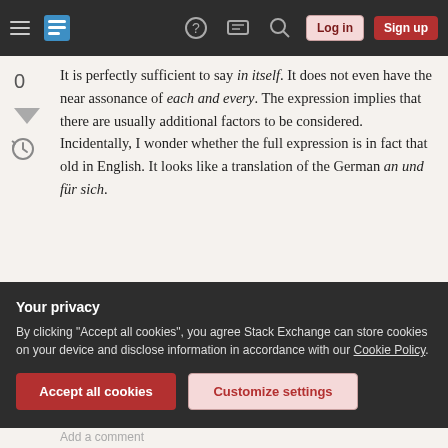Stack Exchange navigation bar with hamburger menu, logo, help, chat, search icons, Log in and Sign up buttons
It is perfectly sufficient to say in itself. It does not even have the near assonance of each and every. The expression implies that there are usually additional factors to be considered. Incidentally, I wonder whether the full expression is in fact that old in English. It looks like a translation of the German an und für sich.
Share
Improve this answer
Follow
edited Aug 25, 2015 at 2:39
answered Aug 24, 2015 at 23:15
Your privacy
By clicking "Accept all cookies", you agree Stack Exchange can store cookies on your device and disclose information in accordance with our Cookie Policy.
Accept all cookies
Customize settings
Add a comment